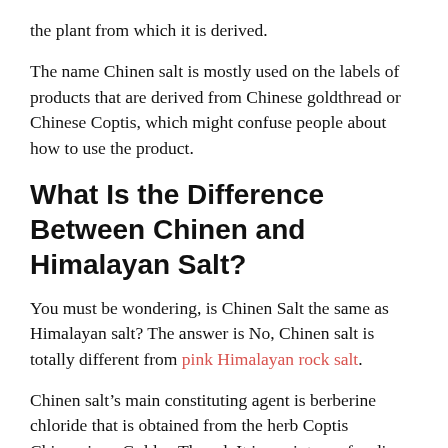the plant from which it is derived.
The name Chinen salt is mostly used on the labels of products that are derived from Chinese goldthread or Chinese Coptis, which might confuse people about how to use the product.
What Is the Difference Between Chinen and Himalayan Salt?
You must be wondering, is Chinen Salt the same as Himalayan salt? The answer is No, Chinen salt is totally different from pink Himalayan rock salt.
Chinen salt’s main constituting agent is berberine chloride that is obtained from the herb Coptis Chinensis or Golden Thread. It is a mixture of sodium nitrate and sodium chloride. Whereas, Himalayan salt